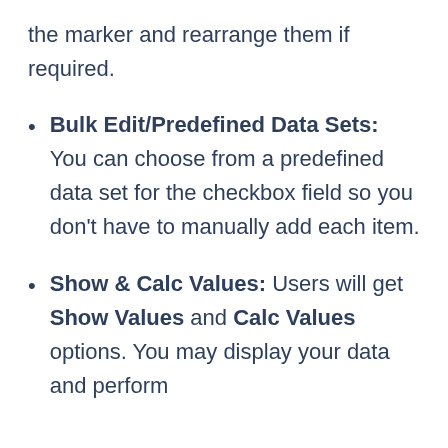the marker and rearrange them if required.
Bulk Edit/Predefined Data Sets: You can choose from a predefined data set for the checkbox field so you don't have to manually add each item.
Show & Calc Values: Users will get Show Values and Calc Values options. You may display your data and perform